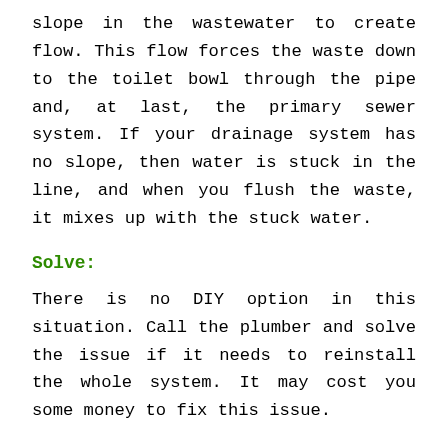slope in the wastewater to create flow. This flow forces the waste down to the toilet bowl through the pipe and, at last, the primary sewer system. If your drainage system has no slope, then water is stuck in the line, and when you flush the waste, it mixes up with the stuck water.
Solve:
There is no DIY option in this situation. Call the plumber and solve the issue if it needs to reinstall the whole system. It may cost you some money to fix this issue.